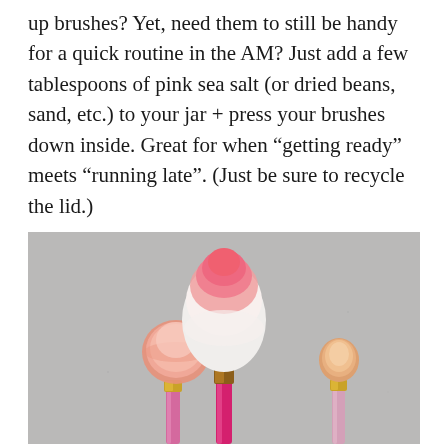up brushes? Yet, need them to still be handy for a quick routine in the AM? Just add a few tablespoons of pink sea salt (or dried beans, sand, etc.) to your jar + press your brushes down inside. Great for when “getting ready” meets “running late”. (Just be sure to recycle the lid.)
[Figure (photo): Three makeup brushes with pink and white bristles, featuring gold and glittery pink/purple handles, displayed against a gray background.]